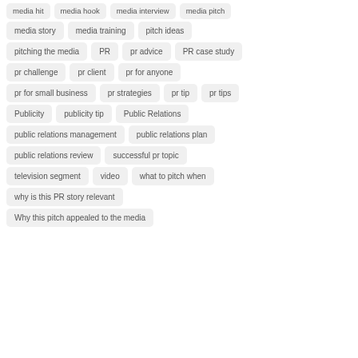media hit
media hook
media interview
media pitch
media story
media training
pitch ideas
pitching the media
PR
pr advice
PR case study
pr challenge
pr client
pr for anyone
pr for small business
pr strategies
pr tip
pr tips
Publicity
publicity tip
Public Relations
public relations management
public relations plan
public relations review
successful pr topic
television segment
video
what to pitch when
why is this PR story relevant
Why this pitch appealed to the media